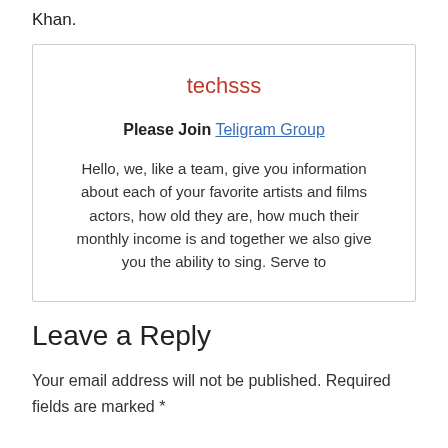Khan.
techsss

Please Join Teligram Group

Hello, we, like a team, give you information about each of your favorite artists and films actors, how old they are, how much their monthly income is and together we also give you the ability to sing. Serve to
Leave a Reply
Your email address will not be published. Required fields are marked *